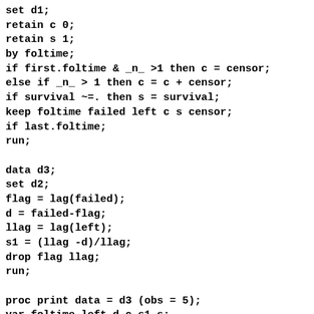set d1;
retain c 0;
retain s 1;
by foltime;
if first.foltime & _n_ >1 then c = censor;
else if _n_ > 1 then c = c + censor;
if survival ~=. then s = survival;
keep foltime failed left c s censor;
if last.foltime;
run;

data d3;
set d2;
flag = lag(failed);
d = failed-flag;
llag = lag(left);
s1 = (llag -d)/llag;
drop flag llag;
run;

proc print data = d3 (obs = 5);
var foltime left d c s1 s;
format s1 8.4 s 8.3;
run;
proc print data = d3 (firstobs = 94 obs=96) noob